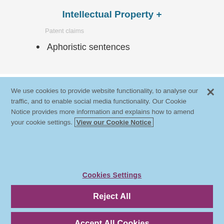Intellectual Property +
Patent claims
Aphoristic sentences
We use cookies to provide website functionality, to analyse our traffic, and to enable social media functionality. Our Cookie Notice provides more information and explains how to amend your cookie settings. View our Cookie Notice
Cookies Settings
Reject All
Accept All Cookies